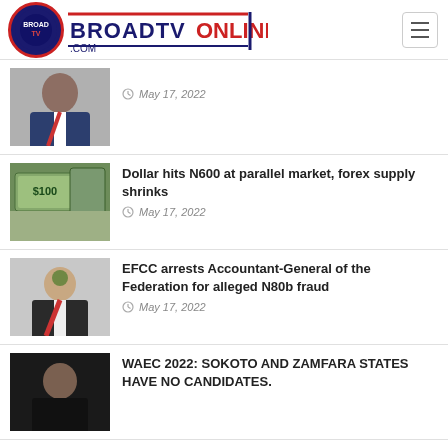BROADTVONLINE.COM
[Figure (photo): Man in suit with red tie seated]
May 17, 2022
[Figure (photo): Dollar bills / currency image]
Dollar hits N600 at parallel market, forex supply shrinks
May 17, 2022
[Figure (photo): EFCC official portrait with Nigerian coat of arms]
EFCC arrests Accountant-General of the Federation for alleged N80b fraud
May 17, 2022
[Figure (photo): Man portrait against dark background]
WAEC 2022: SOKOTO AND ZAMFARA STATES HAVE NO CANDIDATES.